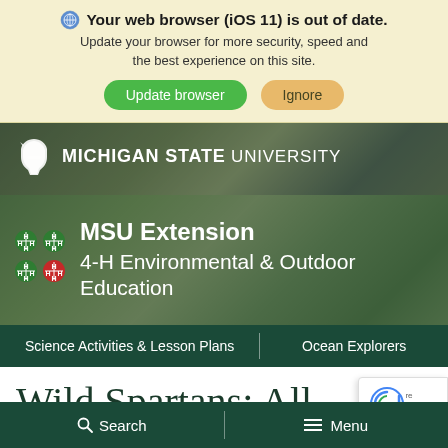Your web browser (iOS 11) is out of date. Update your browser for more security, speed and the best experience on this site.
[Figure (screenshot): Michigan State University header with Spartan helmet logo and wordmark on a dark outdoor background]
[Figure (screenshot): MSU Extension 4-H Environmental & Outdoor Education banner with 4-H clover logos over outdoor children photo]
Science Activities & Lesson Plans    Ocean Explorers
Wild Spartans: All About Honey Bees with Ana
[Figure (screenshot): Google reCAPTCHA badge with Privacy - Terms text]
Search    Menu